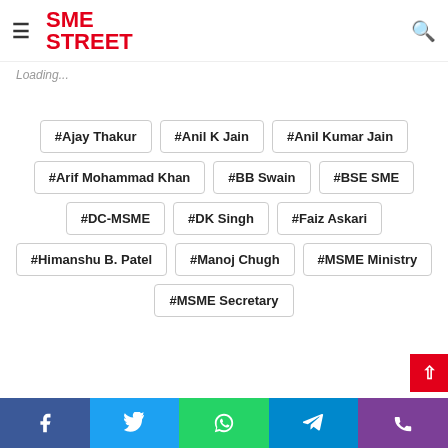SME STREET
Loading...
#Ajay Thakur
#Anil K Jain
#Anil Kumar Jain
#Arif Mohammad Khan
#BB Swain
#BSE SME
#DC-MSME
#DK Singh
#Faiz Askari
#Himanshu B. Patel
#Manoj Chugh
#MSME Ministry
#MSME Secretary
Facebook | Twitter | WhatsApp | Telegram | Phone